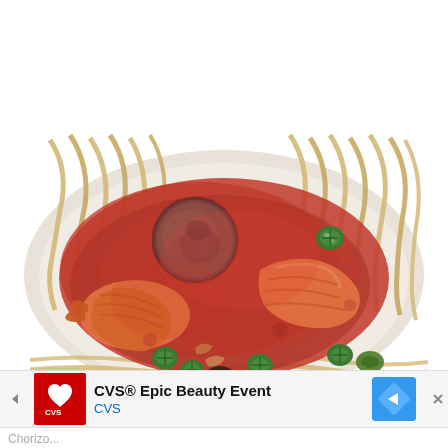[Figure (photo): A plate of pasta (fettuccine) topped with a spicy tomato sauce containing shrimp, sliced sausage medallions, and sliced green jalapeño peppers, served on a white plate viewed from above.]
[Figure (infographic): Advertisement banner for CVS Epic Beauty Event. Shows CVS pharmacy logo on red background, text 'CVS® Epic Beauty Event' in bold with 'CVS' in blue below, a blue diamond-shaped navigation/map icon on the right, a left-pointing play button arrow on the left, and an X close button.]
Chorizo...